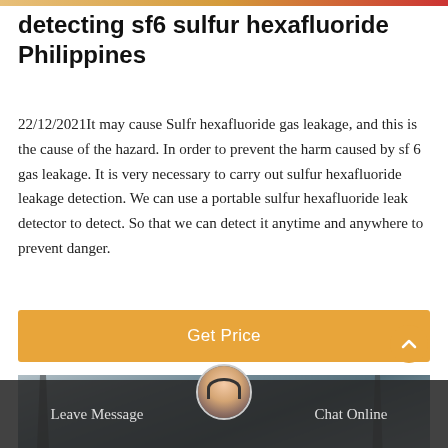detecting sf6 sulfur hexafluoride Philippines
22/12/2021It may cause Sulfr hexafluoride gas leakage, and this is the cause of the hazard. In order to prevent the harm caused by sf 6 gas leakage. It is very necessary to carry out sulfur hexafluoride leakage detection. We can use a portable sulfur hexafluoride leak detector to detect. So that we can detect it anytime and anywhere to prevent danger.
[Figure (other): Orange Get Price button]
[Figure (photo): Photo of electrical power transmission towers against sky, with chat support overlay bar at bottom showing Leave Message and Chat Online options with a customer service avatar.]